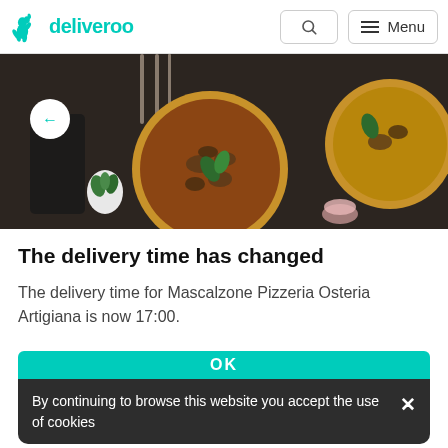deliveroo
[Figure (photo): Overhead photo of two pizzas on a dark wooden table with cutlery, a plant, and a candle. A white circular back-arrow button overlays the top-left.]
The delivery time has changed
The delivery time for Mascalzone Pizzeria Osteria Artigiana is now 17:00.
OK
By continuing to browse this website you accept the use of cookies